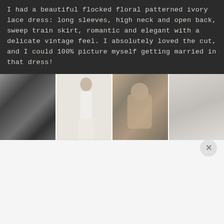I had a beautiful flocked floral patterned ivory lace dress: long sleeves, high neck and open back, sweep train skirt, romantic and elegant with a delicate vintage feel. I absolutely loved the cut, and I could 100% picture myself getting married in that dress!
[Figure (photo): A horizontal strip of four wedding-themed photos side by side: lace fabric detail (black and white), a bride in a long white dress with open back, hands holding flowers near a stone wall, and a soft-focus white fabric/veil.]
Hey Valentina here! Sign up for my newsletter!
Subscribe to receive all my posts and offers before anyone else!